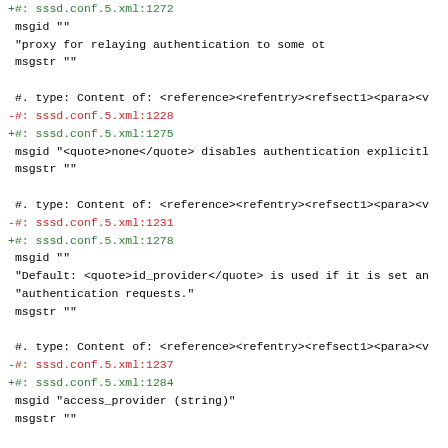+#: sssd.conf.5.xml:1272
 msgid ""
 "<quote>proxy</quote> for relaying authentication to some ot
 msgstr ""

 #. type: Content of: <reference><refentry><refsect1><para><v
-#: sssd.conf.5.xml:1228
+#: sssd.conf.5.xml:1275
 msgid "<quote>none</quote> disables authentication explicitl
 msgstr ""

 #. type: Content of: <reference><refentry><refsect1><para><v
-#: sssd.conf.5.xml:1231
+#: sssd.conf.5.xml:1278
 msgid ""
 "Default: <quote>id_provider</quote> is used if it is set an
 "authentication requests."
 msgstr ""

 #. type: Content of: <reference><refentry><refsect1><para><v
-#: sssd.conf.5.xml:1237
+#: sssd.conf.5.xml:1284
 msgid "access_provider (string)"
 msgstr ""

 #. type: Content of: <reference><refentry><refsect1><para><v